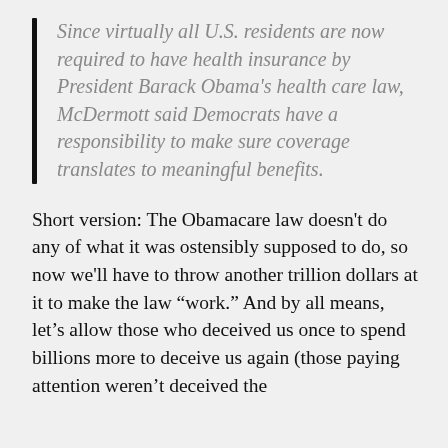Since virtually all U.S. residents are now required to have health insurance by President Barack Obama's health care law, McDermott said Democrats have a responsibility to make sure coverage translates to meaningful benefits.
Short version: The Obamacare law doesn't do any of what it was ostensibly supposed to do, so now we'll have to throw another trillion dollars at it to make the law “work.” And by all means, let’s allow those who deceived us once to spend billions more to deceive us again (those paying attention weren’t deceived the